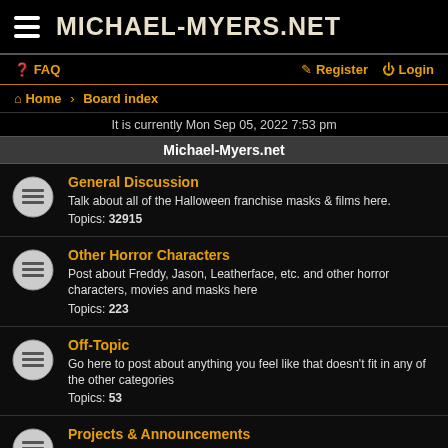MICHAEL-MYERS.NET
FAQ   Register   Login
Home · Board index
It is currently Mon Sep 05, 2022 7:53 pm
Michael-Myers.net
General Discussion
Talk about all of the Halloween franchise masks & films here.
Topics: 32915
Other Horror Characters
Post about Freddy, Jason, Leatherface, etc. and other horror characters, movies and masks here
Topics: 223
Off-Topic
Go here to post about anything you feel like that doesn't fit in any of the other categories
Topics: 53
Projects & Announcements
Just finished / Working on a new mask or project? Feel free to post it in here!
Topics: 21